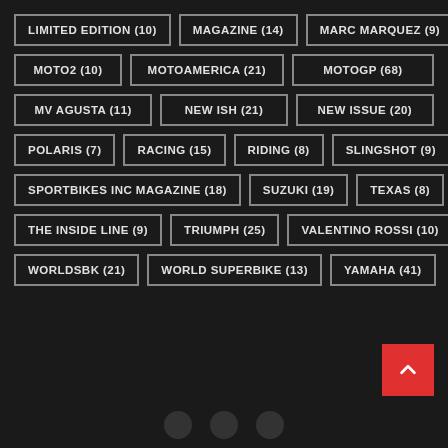LIMITED EDITION (10)
MAGAZINE (14)
MARC MARQUEZ (9)
MOTO2 (10)
MOTOAMERICA (21)
MOTOGP (68)
MV AGUSTA (11)
NEW ISH (21)
NEW ISSUE (20)
POLARIS (7)
RACING (15)
RIDING (8)
SLINGSHOT (9)
SPORTBIKES INC MAGAZINE (18)
SUZUKI (19)
TEXAS (8)
THE INSIDE LINE (9)
TRIUMPH (25)
VALENTINO ROSSI (10)
WORLDSBK (21)
WORLD SUPERBIKE (13)
YAMAHA (41)